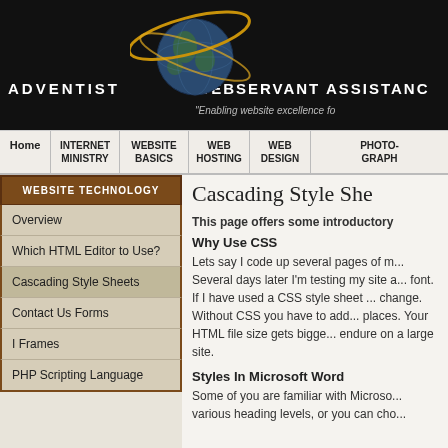ADVENTIST   WEBSERVANT ASSISTANCE "Enabling website excellence fo..."
[Figure (logo): Globe with golden orbital ring - Adventist Webservant Assistance logo]
Home | INTERNET MINISTRY | WEBSITE BASICS | WEB HOSTING | WEB DESIGN | PHOTOGRAPHY
Cascading Style Sheets
WEBSITE TECHNOLOGY
Overview
Which HTML Editor to Use?
Cascading Style Sheets
Contact Us Forms
I Frames
PHP Scripting Language
This page offers some introductory...
Why Use CSS
Lets say I code up several pages of m... Several days later I'm testing my site a... font. If I have used a CSS style sheet ... change. Without CSS you have to add... places. Your HTML file size gets bigge... endure on a large site.
Styles In Microsoft Word
Some of you are familiar with Microso... various heading levels, or you can cho...